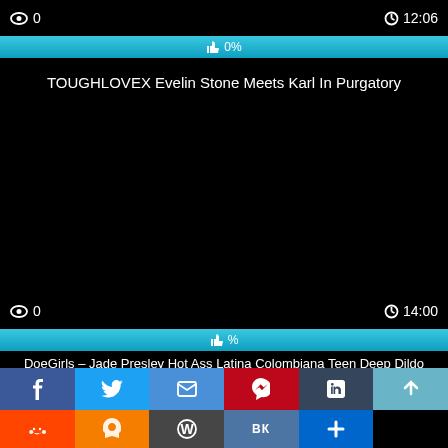0   12:06
[Figure (screenshot): Blue progress bar showing 0% with thumbs up icon]
TOUGHLOVEX Evelin Stone Meets Karl In Purgatory
[Figure (screenshot): Black video thumbnail area]
0   14:00
[Figure (screenshot): Blue progress bar showing % with thumbs up icon]
DoeGirls – Jade Presley Hot Ass Latina Colombiana Teen Deep Dildo Riding Intense Video
[Figure (infographic): Social share buttons: Facebook, Twitter, Email, Pinterest, Tumblr, Up arrow, Reddit, Blogger, WordPress, VK, Add]